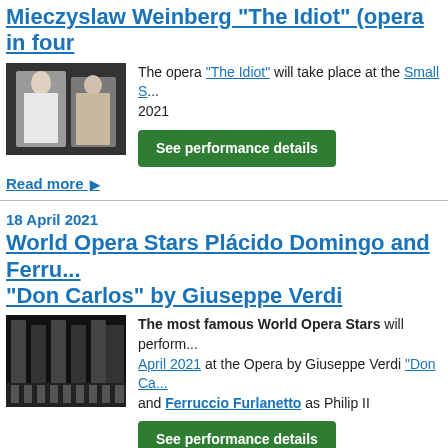Mieczyslaw Weinberg "The Idiot" (opera in four...
[Figure (photo): Opera performance photo showing two performers in white costumes on stage]
The opera "The Idiot" will take place at the Small S... 2021
See performance details
Read more ▶
18 April 2021
World Opera Stars Plácido Domingo and Ferru... "Don Carlos" by Giuseppe Verdi
[Figure (photo): Opera stage set with large gothic arches and chorus on stage, dark dramatic lighting]
The most famous World Opera Stars will perform... April 2021 at the Opera by Giuseppe Verdi "Don Ca..." and Ferruccio Furlanetto as Philip II
See performance details
Read more ▶
17 April 2021
World Opera Stars Anna Netrebko and Yusif Ey... Carlos" by Giuseppe Verdi